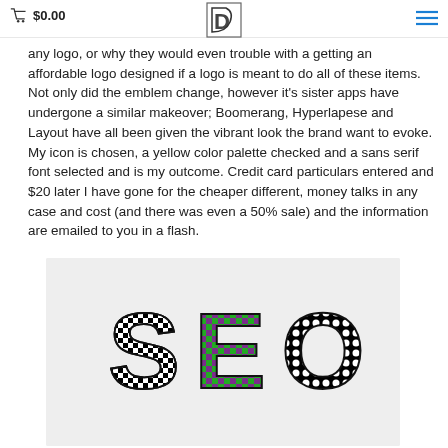$0.00
any logo, or why they would even trouble with a getting an affordable logo designed if a logo is meant to do all of these items. Not only did the emblem change, however it's sister apps have undergone a similar makeover; Boomerang, Hyperlapese and Layout have all been given the vibrant look the brand want to evoke. My icon is chosen, a yellow color palette checked and a sans serif font selected and is my outcome. Credit card particulars entered and $20 later I have gone for the cheaper different, money talks in any case and cost (and there was even a 50% sale) and the information are emailed to you in a flash.
[Figure (photo): Photo of decorative letter tiles spelling 'SEO' — S is black and white checkered, E is purple and green, O is black and white dotted — on a light gray background]